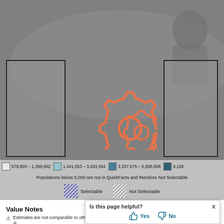[Figure (map): US map with two outlined rectangular boxes on left and right sides, overlaid with two orange gear/cog icon images indicating loading or processing state. Background is grey map of United States.]
578,803 - 1,388,992   1,441,553 - 3,293,564   3,337,975 - 5,895,908   6,165...
Populations below 5,000 are not in QuickFacts and therefore Not Selectable
Selectable   Not Selectable
Value Notes
Estimates are not comparable to other geographies due to methodology differences that may exist between di...
Some estimates presented here come from sample data and are subject to sampling errors that may render some apparent differences between...
Is this page helpful?
Yes   No